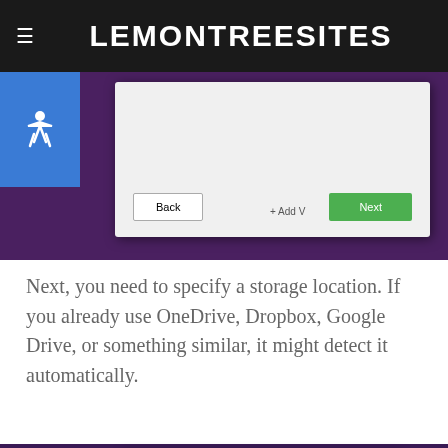LEMONTREESITES
[Figure (screenshot): Screenshot of a software wizard dialog with Back and Next buttons on a purple background, with an accessibility icon on the left]
Next, you need to specify a storage location. If you already use OneDrive, Dropbox, Google Drive, or something similar, it might detect it automatically.
[Figure (screenshot): Screenshot of Cryptomator Add Vault dialog showing storage location options: Custom Location and Choose, with a storage path field showing /home/aniLondon/Test]